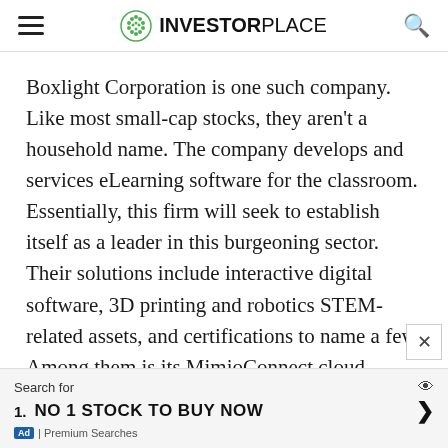INVESTORPLACE
Boxlight Corporation is one such company. Like most small-cap stocks, they aren't a household name. The company develops and services eLearning software for the classroom. Essentially, this firm will seek to establish itself as a leader in this burgeoning sector. Their solutions include interactive digital software, 3D printing and robotics STEM-related assets, and certifications to name a few. Among them is its MimioConnect cloud platform for remote teaching and learning.
Search for
1. NO 1 STOCK TO BUY NOW
| Premium Searches